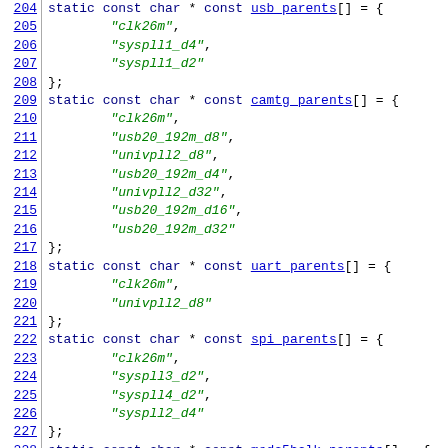[Figure (screenshot): Source code listing showing C static const char array declarations for clock parent arrays: usb_parents (partial), camtg_parents, uart_parents, spi_parents, and msdc5hclk_parents (partial), with line numbers 204-234.]